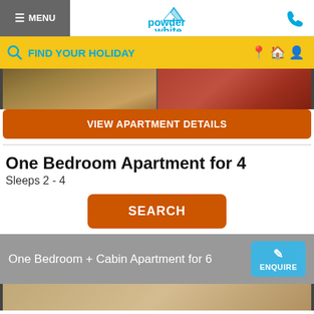≡ MENU | powder white | [phone icon]
FIND YOUR HOLIDAY
[Figure (photo): Interior photo of apartment showing striped cushions/sofa on left and red chair with side table on right]
VIEW APARTMENT DETAILS
One Bedroom Apartment for 4
Sleeps 2 - 4
SEARCH
One Bedroom + Cabin Apartment for 6
[Figure (photo): Interior photo of apartment bedroom]
ENQUIRE
SELECT DATES